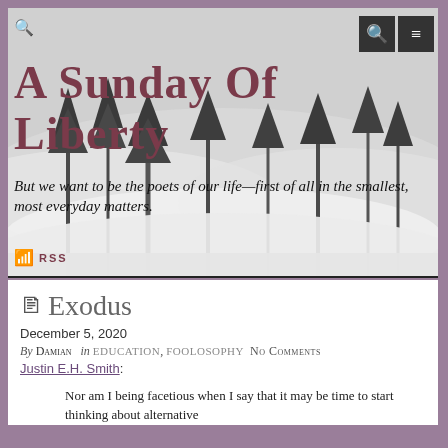[Figure (photo): Misty forest landscape in black and white with tall trees emerging from fog, serving as website header background]
A Sunday of Liberty
But we want to be the poets of our life—first of all in the smallest, most everyday matters.
RSS
Exodus
December 5, 2020
By Damian in EDUCATION, FOOLOSOPHY No Comments
Justin E.H. Smith:
Nor am I being facetious when I say that it may be time to start thinking about alternative